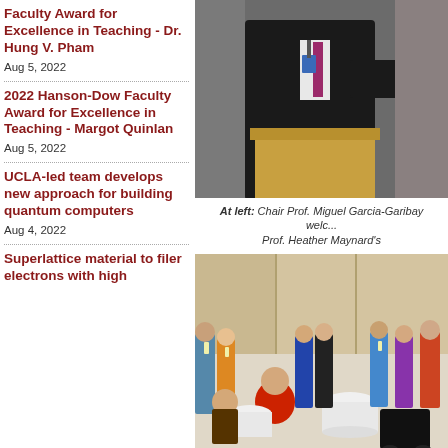Faculty Award for Excellence in Teaching - Dr. Hung V. Pham
Aug 5, 2022
2022 Hanson-Dow Faculty Award for Excellence in Teaching - Margot Quinlan
Aug 5, 2022
UCLA-led team develops new approach for building quantum computers
Aug 4, 2022
Superlattice material to filer electrons with high
[Figure (photo): Person in dark suit at podium holding microphone, speaking at conference]
At left: Chair Prof. Miguel Garcia-Garibay welc... Prof. Heather Maynard's
[Figure (photo): Conference networking session with multiple attendees standing and sitting around tables]